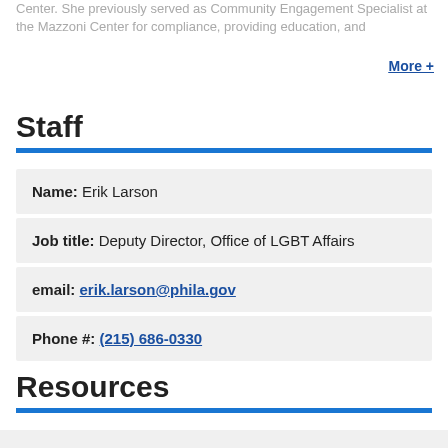Center. She previously served as Community Engagement Specialist at the Mazzoni Center for compliance, providing education, and
More +
Staff
| Name: Erik Larson |
| Job title: Deputy Director, Office of LGBT Affairs |
| email: erik.larson@phila.gov |
| Phone #: (215) 686-0330 |
Resources